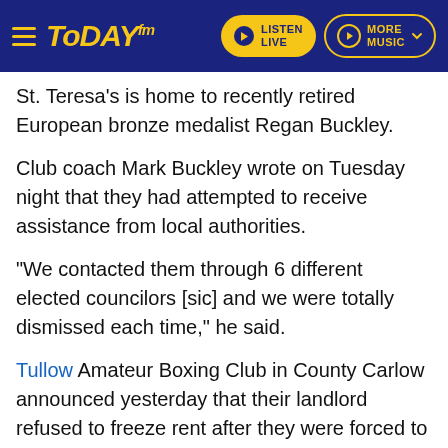Today FM — LISTEN LIVE | MORE MUSIC
St. Teresa's is home to recently retired European bronze medalist Regan Buckley.
Club coach Mark Buckley wrote on Tuesday night that they had attempted to receive assistance from local authorities.
"We contacted them through 6 different elected councilors [sic] and we were totally dismissed each time," he said.
Tullow Amateur Boxing Club in County Carlow announced yesterday that their landlord refused to freeze rent after they were forced to close their doors in March.
They have approximately 80 members.
I contacted them and got them the country "No